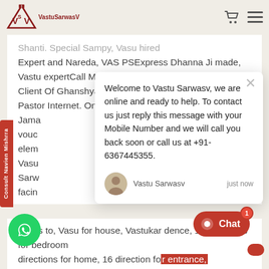VastuSarwasV
Shanti. Special Sampy, Vasu hired Expert and Nareda, VAS PSExpress Dhanna Ji made, Vastu expertCall Mahavastu Expert Nagpur Ajmer Vastu Client Of Ghanshyam is in a GmailCall Vastu on Google, Pastor Internet. Online Vastushastri. Vastu entrance. Jama vouc elem Vasu Sarw facing
Welcome to Vastu Sarwasv, we are online and ready to help. To contact us just reply this message with your Mobile Number and we will call you back soon or call us at +91-6367445355.
Vastu Sarwasv
just now
le has to, Vasu for house, Vastukar dence, 16 directions for bedroom directions for home, 16 direction for entrance,
Consult Navien Mishrra